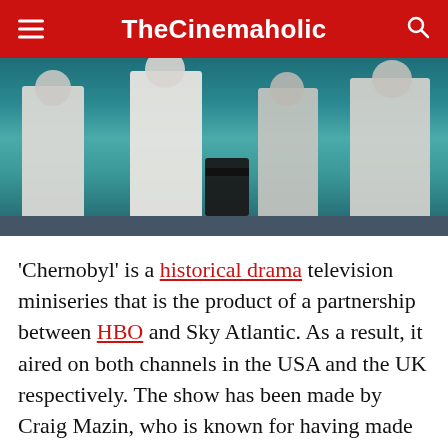TheCinemaholic
[Figure (photo): Scene still from the Chernobyl miniseries showing figures in white hazmat/protective suits in a teal-toned environment with a dark chair visible.]
'Chernobyl' is a historical drama television miniseries that is the product of a partnership between HBO and Sky Atlantic. As a result, it aired on both channels in the USA and the UK respectively. The show has been made by Craig Mazin, who is known for having made the second and third parts of the 'Hangover' movies, and 'The Huntsman: Winter's War'. Johan Renck has been employed as the director of the show.